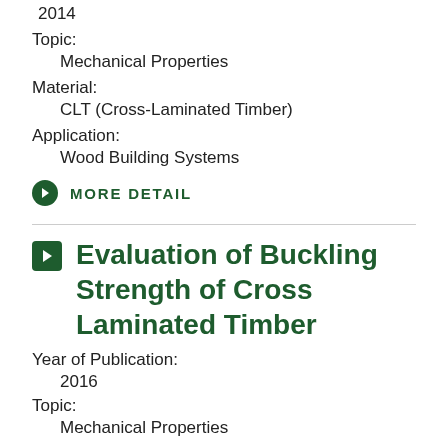2014
Topic:
Mechanical Properties
Material:
CLT (Cross-Laminated Timber)
Application:
Wood Building Systems
MORE DETAIL
Evaluation of Buckling Strength of Cross Laminated Timber
Year of Publication:
2016
Topic:
Mechanical Properties